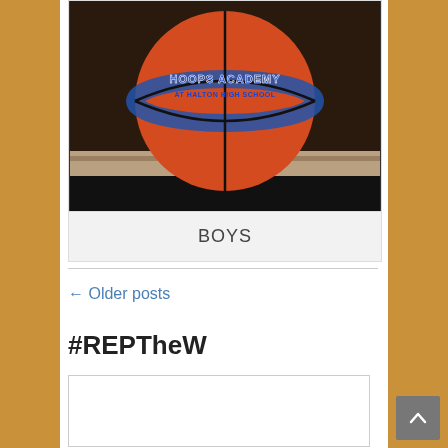[Figure (photo): A red and blue basketball with 'HOOPS ACADEMY AT HALTON HIGH SCHOOL' text on it, sitting in a wooden display box]
BOYS
← Older posts
#REPTheW
[Figure (screenshot): Empty white search/widget box]